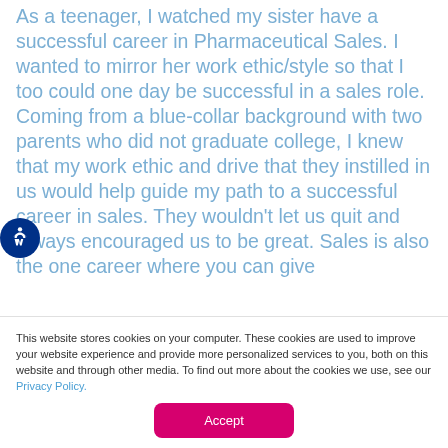As a teenager, I watched my sister have a successful career in Pharmaceutical Sales. I wanted to mirror her work ethic/style so that I too could one day be successful in a sales role. Coming from a blue-collar background with two parents who did not graduate college, I knew that my work ethic and drive that they instilled in us would help guide my path to a successful career in sales. They wouldn't let us quit and always encouraged us to be great. Sales is also the one career where you can give yourself a platform with the financial...
This website stores cookies on your computer. These cookies are used to improve your website experience and provide more personalized services to you, both on this website and through other media. To find out more about the cookies we use, see our Privacy Policy.
Accept